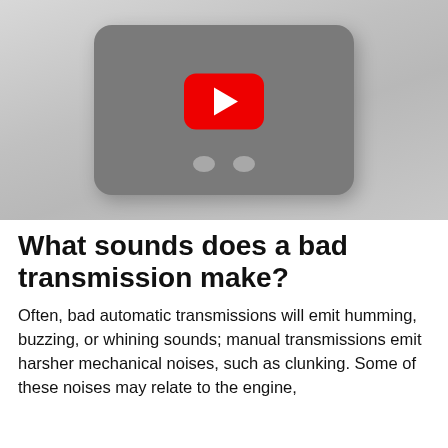[Figure (screenshot): YouTube video thumbnail placeholder showing a grey background with a dark rounded rectangle and a red YouTube play button in the center, with two grey dots below the play button.]
What sounds does a bad transmission make?
Often, bad automatic transmissions will emit humming, buzzing, or whining sounds; manual transmissions emit harsher mechanical noises, such as clunking. Some of these noises may relate to the engine, and some to other sounds for different th...